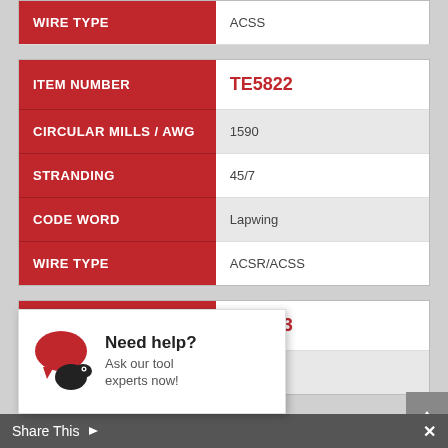| Field | Value |
| --- | --- |
| WIRE TYPE | ACSS |
| Field | Value |
| --- | --- |
| ITEM NUMBER | TE5822 |
| CIRCULAR MILLS / AWG | 1590 |
| STRANDING | 45/7 |
| CODE WORD | Lapwing |
| WIRE TYPE | ACSR/ACSS |
| Field | Value |
| --- | --- |
| ITEM NUMBER | TE5823 |
| CIRCULAR MILLS / AWG | 1590 |
Need help? Ask our tool experts now!
Share This